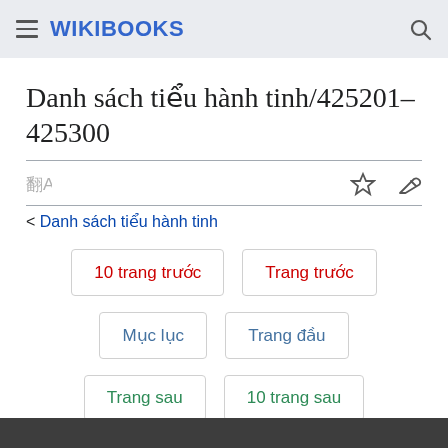WIKIBOOKS
Danh sách tiểu hành tinh/425201–425300
< Danh sách tiểu hành tinh
10 trang trước | Trang trước | Mục lục | Trang đầu | Trang sau | 10 trang sau